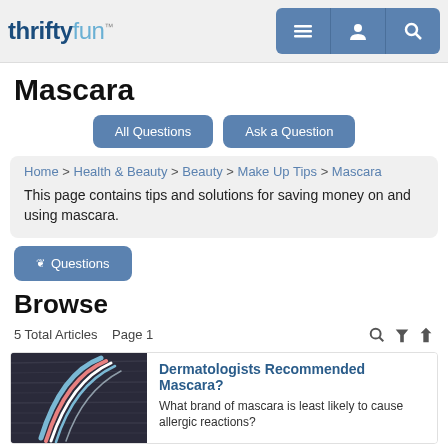thriftyfun™ [navigation icons: menu, user, search]
Mascara
All Questions | Ask a Question
Home > Health & Beauty > Beauty > Make Up Tips > Mascara
This page contains tips and solutions for saving money on and using mascara.
❯❯ Questions
Browse
5 Total Articles   Page 1
[Figure (photo): Close-up photo of colorful mascara brush strokes on dark background]
Dermatologists Recommended Mascara?
What brand of mascara is least likely to cause allergic reactions?